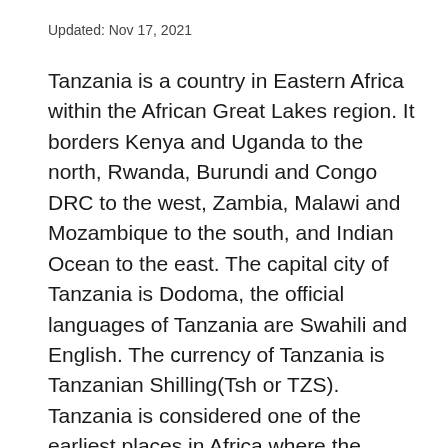Updated: Nov 17, 2021
Tanzania is a country in Eastern Africa within the African Great Lakes region. It borders Kenya and Uganda to the north, Rwanda, Burundi and Congo DRC to the west, Zambia, Malawi and Mozambique to the south, and Indian Ocean to the east. The capital city of Tanzania is Dodoma, the official languages of Tanzania are Swahili and English. The currency of Tanzania is Tanzanian Shilling(Tsh or TZS). Tanzania is considered one of the earliest places in Africa where the earliest Homo habilis inhabited after a 1.75 million years old age fossil was found in Olduvai Gorge.
The largest city of Tanzania is Dar es